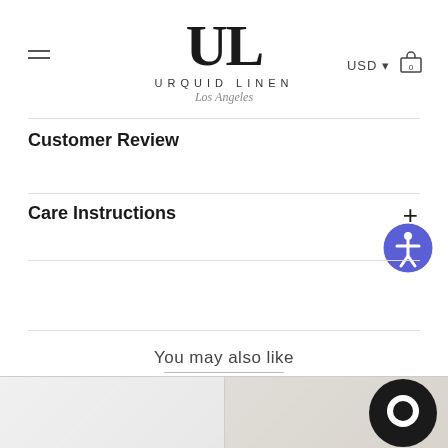[Figure (logo): Urquid Linen Los Angeles logo with large UL monogram and brand name]
Customer Review
Care Instructions
You may also like
[Figure (photo): Two product photos partially visible at bottom: white linen fabric on left, beige/tan linen fabric on right]